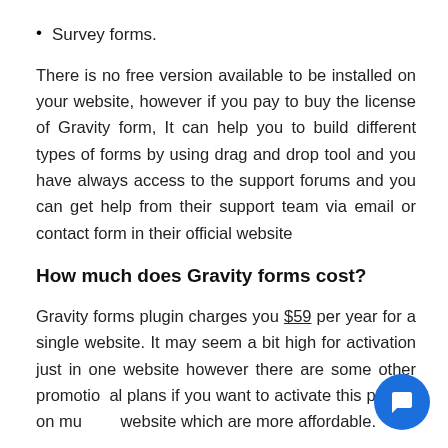Survey forms.
There is no free version available to be installed on your website, however if you pay to buy the license of Gravity form, It can help you to build different types of forms by using drag and drop tool and you have always access to the support forums and you can get help from their support team via email or contact form in their official website
How much does Gravity forms cost?
Gravity forms plugin charges you $59 per year for a single website. It may seem a bit high for activation just in one website however there are some other promotional plans if you want to activate this plug-in on multiple website which are more affordable.